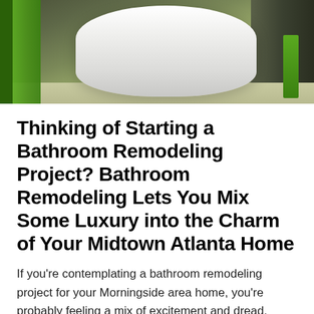[Figure (photo): Photograph of a modern bathroom with a white freestanding bathtub, green towels or curtains on the left, and a dark/neutral background with green accents on the right.]
Thinking of Starting a Bathroom Remodeling Project? Bathroom Remodeling Lets You Mix Some Luxury into the Charm of Your Midtown Atlanta Home
If you’re contemplating a bathroom remodeling project for your Morningside area home, you’re probably feeling a mix of excitement and dread. Excitement, because who doesn’t love a gorgeous, well-appointed bathroom? Every decorative touch